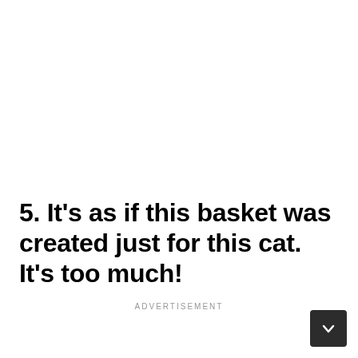5. It's as if this basket was created just for this cat. It's too much!
ADVERTISEMENT